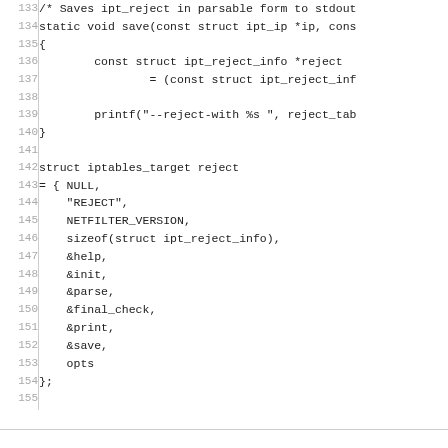[Figure (other): Source code listing showing C code for ipt_reject save function and iptables_target reject struct initialization, lines 133-159]